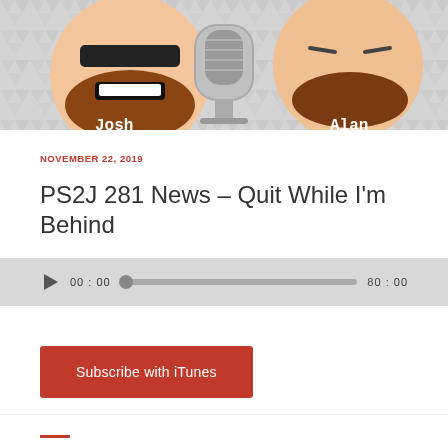[Figure (illustration): Cartoon podcast artwork showing two cartoon faces labeled Josh and Alan with a microphone in the center, on a gray geometric background]
NOVEMBER 22, 2019
PS2J 281 News – Quit While I'm Behind
[Figure (other): Audio player widget with play button, time 00:00, progress bar, and duration 80:00]
[Figure (other): Subscribe with iTunes button (red rectangle)]
[Figure (other): Red horizontal bar at bottom of page]